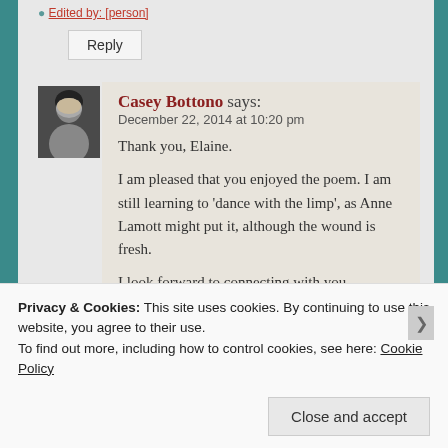* Edited by: [person]
Reply
Casey Bottono says:
December 22, 2014 at 10:20 pm

Thank you, Elaine.

I am pleased that you enjoyed the poem. I am still learning to 'dance with the limp', as Anne Lamott might put it, although the wound is fresh.

I look forward to connecting with you elsewhere.
Privacy & Cookies: This site uses cookies. By continuing to use this website, you agree to their use.
To find out more, including how to control cookies, see here: Cookie Policy
Close and accept